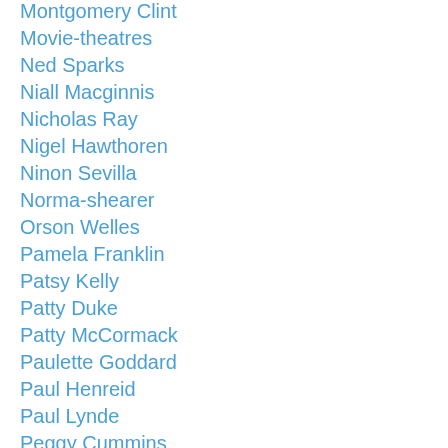Montgomery Clint
Movie-theatres
Ned Sparks
Niall Macginnis
Nicholas Ray
Nigel Hawthoren
Ninon Sevilla
Norma-shearer
Orson Welles
Pamela Franklin
Patsy Kelly
Patty Duke
Patty McCormack
Paulette Goddard
Paul Henreid
Paul Lynde
Peggy Cummins
Percy Kilbride
Peter Bogdanovich
Peter Breck
Peter Falk